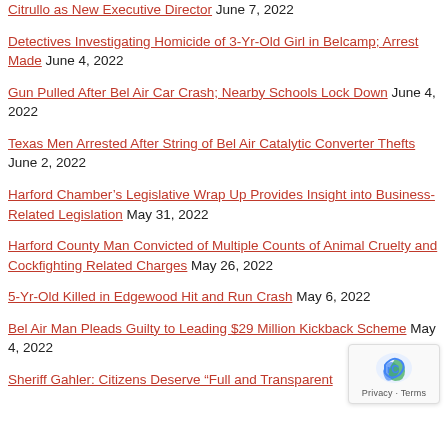Citrullo as New Executive Director June 7, 2022
Detectives Investigating Homicide of 3-Yr-Old Girl in Belcamp; Arrest Made June 4, 2022
Gun Pulled After Bel Air Car Crash; Nearby Schools Lock Down June 4, 2022
Texas Men Arrested After String of Bel Air Catalytic Converter Thefts June 2, 2022
Harford Chamber’s Legislative Wrap Up Provides Insight into Business-Related Legislation May 31, 2022
Harford County Man Convicted of Multiple Counts of Animal Cruelty and Cockfighting Related Charges May 26, 2022
5-Yr-Old Killed in Edgewood Hit and Run Crash May 6, 2022
Bel Air Man Pleads Guilty to Leading $29 Million Kickback Scheme May 4, 2022
Sheriff Gahler: Citizens Deserve “Full and Transparent